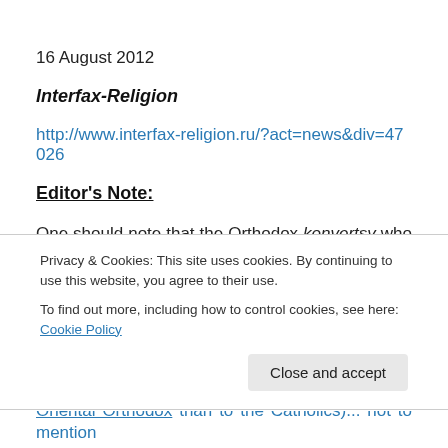16 August 2012
Interfax-Religion
http://www.interfax-religion.ru/?act=news&div=47026
Editor's Note:
One should note that the Orthodox konvertsy who suck up to the Catholics are entirely in the wrong. We do NOT
Privacy & Cookies: This site uses cookies. By continuing to use this website, you agree to their use.
To find out more, including how to control cookies, see here: Cookie Policy
Close and accept
Oriental Orthodox than to the Catholics)... not to mention